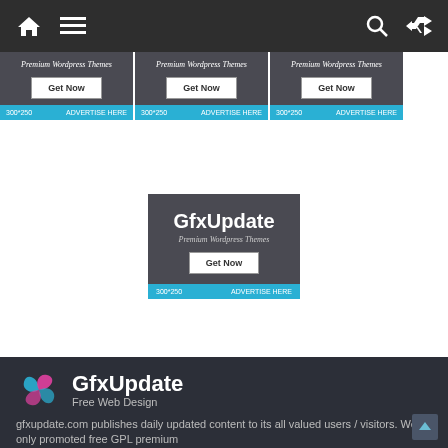GfxUpdate navigation bar with home, menu, search, and shuffle icons
[Figure (screenshot): Three advertisement cards side by side for GfxUpdate Premium Wordpress Themes with Get Now button and 300*250 / ADVERTISE HERE footer]
[Figure (screenshot): Single advertisement card for GfxUpdate Premium Wordpress Themes with Get Now button and 300*250 / ADVERTISE HERE footer]
[Figure (logo): GfxUpdate logo with swirl icon, site name GfxUpdate and tagline Free Web Design]
gfxupdate.com publishes daily updated content to its all valued users / visitors. We only promoted free GPL premium